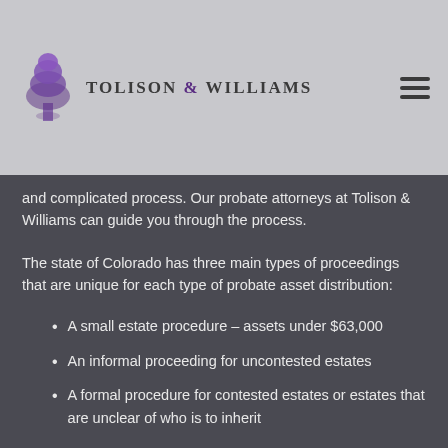[Figure (logo): Tolison & Williams law firm logo with purple tree icon and firm name in serif font]
and complicated process. Our probate attorneys at Tolison & Williams can guide you through the process.
The state of Colorado has three main types of proceedings that are unique for each type of probate asset distribution:
A small estate procedure – assets under $63,000
An informal proceeding for uncontested estates
A formal procedure for contested estates or estates that are unclear of who is to inherit
We highly recommend the involvement of an experienced and knowledgeable probate attorney when navigating through the